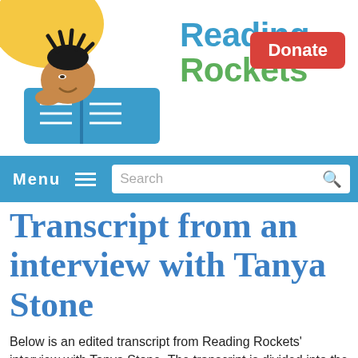[Figure (illustration): Reading Rockets logo: cartoon child reading a book with wild hair, yellow/blue color scheme, with site name 'Reading Rockets' in blue and green text]
Donate
Menu  Search
Transcript from an interview with Tanya Stone
Below is an edited transcript from Reading Rockets' interview with Tanya Stone. The transcript is divided into the following clips:
Books in the family
It's okay to write a bad first draft